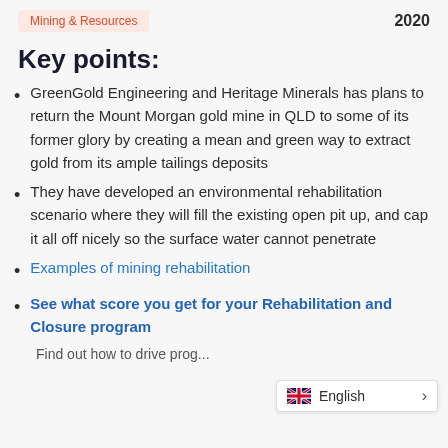Mining & Resources   2020
Key points:
GreenGold Engineering and Heritage Minerals has plans to return the Mount Morgan gold mine in QLD to some of its former glory by creating a mean and green way to extract gold from its ample tailings deposits
They have developed an environmental rehabilitation scenario where they will fill the existing open pit up, and cap it all off nicely so the surface water cannot penetrate
Examples of mining rehabilitation
See what score you get for your Rehabilitation and Closure program
Find out how to drive prog...